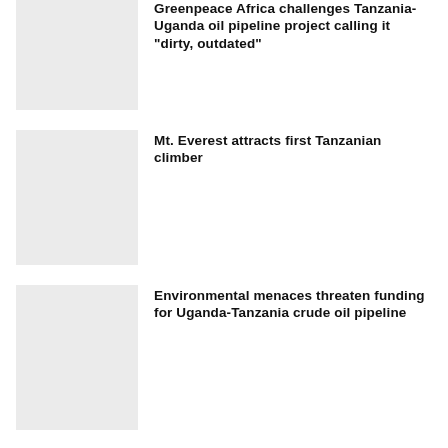[Figure (photo): Thumbnail image placeholder for Greenpeace Africa article]
Greenpeace Africa challenges Tanzania-Uganda oil pipeline project calling it “dirty, outdated”
[Figure (photo): Thumbnail image placeholder for Mt. Everest article]
Mt. Everest attracts first Tanzanian climber
[Figure (photo): Thumbnail image placeholder for Environmental menaces article]
Environmental menaces threaten funding for Uganda-Tanzania crude oil pipeline
Mti mrefu kuliko yote wapatikana Tanzania
14th June 2018